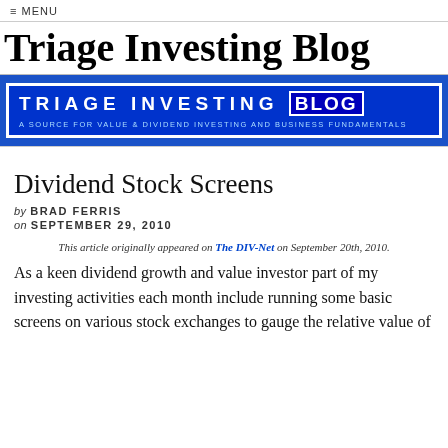≡ MENU
Triage Investing Blog
[Figure (logo): Triage Investing Blog banner logo: blue background with geometric triangle pattern, white bordered rectangle containing 'TRIAGE INVESTING BLOG' in large white bold letters with 'BLOG' on dark blue background, subtitle 'A SOURCE FOR VALUE & DIVIDEND INVESTING AND BUSINESS FUNDAMENTALS' in light blue text]
Dividend Stock Screens
by BRAD FERRIS
on SEPTEMBER 29, 2010
This article originally appeared on The DIV-Net on September 20th, 2010.
As a keen dividend growth and value investor part of my investing activities each month include running some basic screens on various stock exchanges to gauge the relative value of